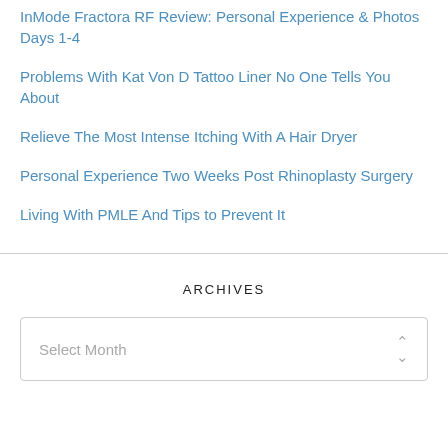InMode Fractora RF Review: Personal Experience & Photos Days 1-4
Problems With Kat Von D Tattoo Liner No One Tells You About
Relieve The Most Intense Itching With A Hair Dryer
Personal Experience Two Weeks Post Rhinoplasty Surgery
Living With PMLE And Tips to Prevent It
ARCHIVES
Select Month